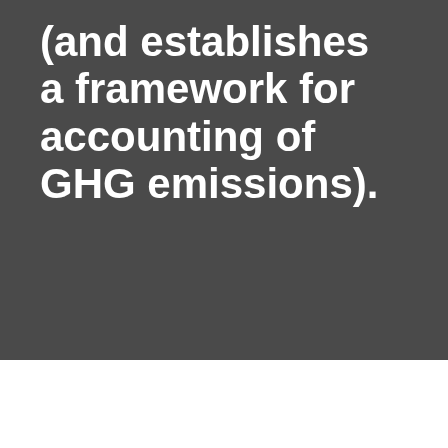(and establishes a framework for accounting of GHG emissions).